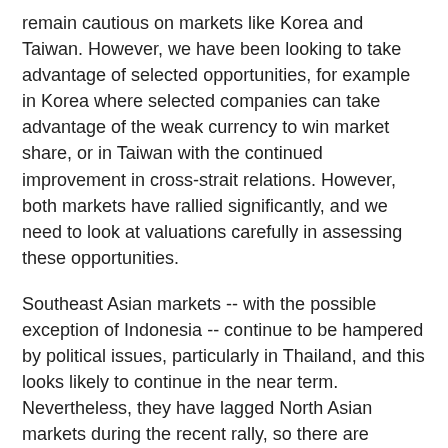remain cautious on markets like Korea and Taiwan. However, we have been looking to take advantage of selected opportunities, for example in Korea where selected companies can take advantage of the weak currency to win market share, or in Taiwan with the continued improvement in cross-strait relations. However, both markets have rallied significantly, and we need to look at valuations carefully in assessing these opportunities.
Southeast Asian markets -- with the possible exception of Indonesia -- continue to be hampered by political issues, particularly in Thailand, and this looks likely to continue in the near term. Nevertheless, they have lagged North Asian markets during the recent rally, so there are opportunities there as well.